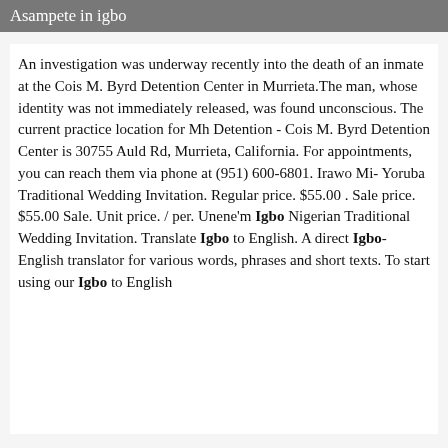Asampete in igbo
An investigation was underway recently into the death of an inmate at the Cois M. Byrd Detention Center in Murrieta.The man, whose identity was not immediately released, was found unconscious. The current practice location for Mh Detention - Cois M. Byrd Detention Center is 30755 Auld Rd, Murrieta, California. For appointments, you can reach them via phone at (951) 600-6801. Irawo Mi- Yoruba Traditional Wedding Invitation. Regular price. $55.00 . Sale price. $55.00 Sale. Unit price. / per. Unene'm Igbo Nigerian Traditional Wedding Invitation. Translate Igbo to English. A direct Igbo-English translator for various words, phrases and short texts. To start using our Igbo to English